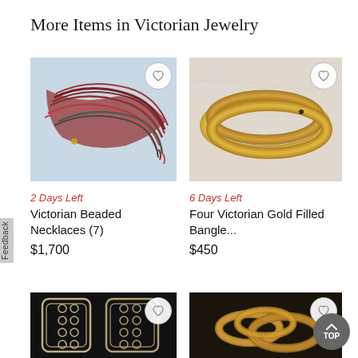More Items in Victorian Jewelry
[Figure (photo): Victorian beaded necklaces, red and dark colored, bundled together on light blue background]
[Figure (photo): Four Victorian gold filled bangles stacked on marble surface]
2 Days Left
Victorian Beaded Necklaces (7)
$1,700
6 Days Left
Four Victorian Gold Filled Bangle...
$450
[Figure (photo): Victorian decorative bracelets with ornate links on black background]
[Figure (photo): Victorian gold rings on dark background]